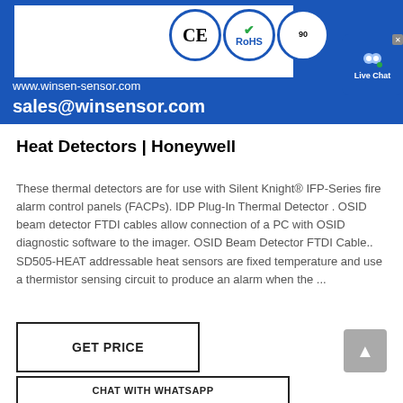[Figure (logo): Winsen sensor company banner with website www.winsen-sensor.com, email sales@winsensor.com, CE, RoHS, and ISO certification logos, Live Chat widget]
Heat Detectors | Honeywell
These thermal detectors are for use with Silent Knight® IFP-Series fire alarm control panels (FACPs). IDP Plug-In Thermal Detector . OSID beam detector FTDI cables allow connection of a PC with OSID diagnostic software to the imager. OSID Beam Detector FTDI Cable.. SD505-HEAT addressable heat sensors are fixed temperature and use a thermistor sensing circuit to produce an alarm when the ...
GET PRICE
CHAT WITH WHATSAPP